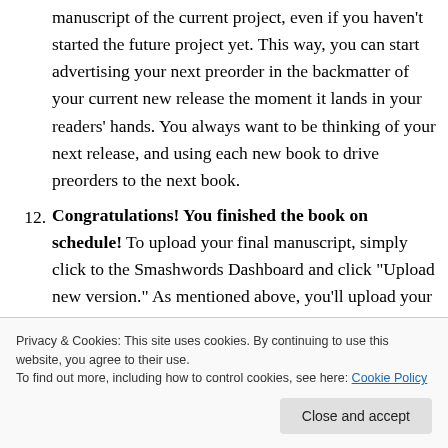manuscript of the current project, even if you haven't started the future project yet. This way, you can start advertising your next preorder in the backmatter of your current new release the moment it lands in your readers' hands. You always want to be thinking of your next release, and using each new book to drive preorders to the next book.
12. Congratulations! You finished the book on schedule! To upload your final manuscript, simply click to the Smashwords Dashboard and click "Upload new version" As mentioned above, you'll upload your final
Privacy & Cookies: This site uses cookies. By continuing to use this website, you agree to their use. To find out more, including how to control cookies, see here: Cookie Policy